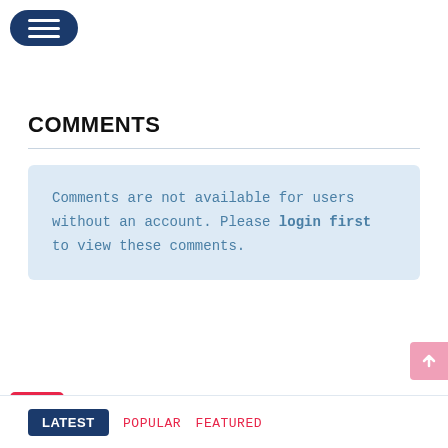[Figure (other): Dark navy blue rounded hamburger/menu button with three white horizontal lines]
COMMENTS
Comments are not available for users without an account. Please login first to view these comments.
Ads   Your ad here?
[Figure (other): Pink scroll-to-top arrow button on right edge]
LATEST   POPULAR   FEATURED